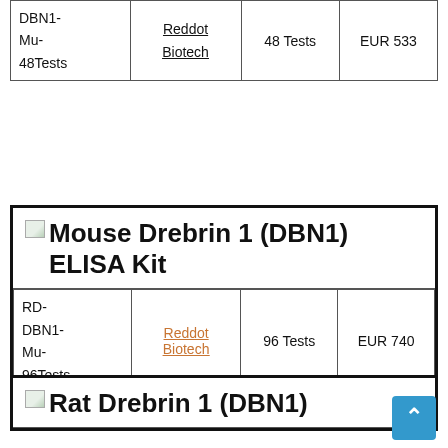|  |  |  |  |
| --- | --- | --- | --- |
| DBN1-Mu-48Tests | Reddot Biotech | 48 Tests | EUR 533 |
Mouse Drebrin 1 (DBN1) ELISA Kit
|  |  |  |  |
| --- | --- | --- | --- |
| RD-DBN1-Mu-96Tests | Reddot Biotech | 96 Tests | EUR 740 |
Rat Drebrin 1 (DBN1)